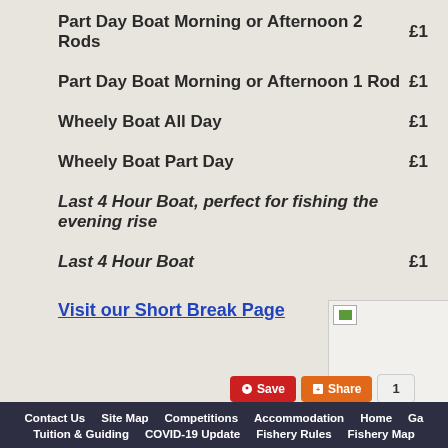Part Day Boat Morning or Afternoon 2 Rods  £1
Part Day Boat Morning or Afternoon 1 Rod  £1
Wheely Boat All Day  £1
Wheely Boat Part Day  £1
Last 4 Hour Boat, perfect for fishing the evening rise
Last 4 Hour Boat  £1
Visit our Short Break Page
[Figure (photo): Partial image visible in bottom right, appears to be a fishery or landscape photo]
Contact Us  Site Map  Competitions  Accommodation  Home  Ga  Tuition & Guiding  COVID-19 Update  Fishery Rules  Fishery Map